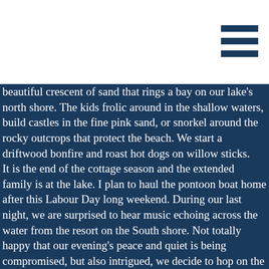[Figure (other): Hamburger menu icon (three horizontal bars) in dark navy blue, positioned in the top right corner of a white header bar]
beautiful crescent of sand that rings a bay on our lake's north shore. The kids frolic around in the shallow waters, build castles in the fine pink sand, or snorkel around the rocky outcrops that protect the beach. We start a driftwood bonfire and roast hot dogs on willow sticks. It is the end of the cottage season and the extended family is at the lake. I plan to haul the pontoon boat home after this Labour Day long weekend. During our last night, we are surprised to hear music echoing across the water from the resort on the South shore. Not totally happy that our evening's peace and quiet is being compromised, but also intrigued, we decide to hop on the boat and cruise over to investigate. I navigate our vessel into the bay where a river outlets our lake, and where the local resort is hidden and protected. We are surprised to see a live band playing on the large wooden front deck of the lodge, and a throng of people milling about